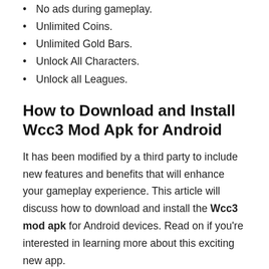No ads during gameplay.
Unlimited Coins.
Unlimited Gold Bars.
Unlock All Characters.
Unlock all Leagues.
How to Download and Install Wcc3 Mod Apk for Android
It has been modified by a third party to include new features and benefits that will enhance your gameplay experience. This article will discuss how to download and install the Wcc3 mod apk for Android devices. Read on if you're interested in learning more about this exciting new app.